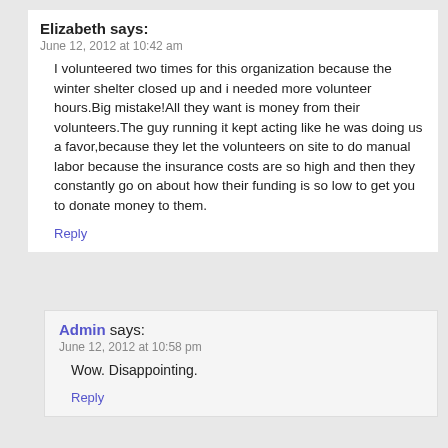Elizabeth says:
June 12, 2012 at 10:42 am
I volunteered two times for this organization because the winter shelter closed up and i needed more volunteer hours.Big mistake!All they want is money from their volunteers.The guy running it kept acting like he was doing us a favor,because they let the volunteers on site to do manual labor because the insurance costs are so high and then they constantly go on about how their funding is so low to get you to donate money to them.
Reply
Admin says:
June 12, 2012 at 10:58 pm
Wow. Disappointing.
Reply